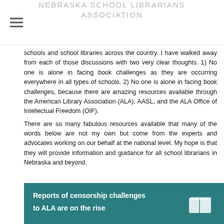NEBRASKA SCHOOL LIBRARIANS ASSOCIATION
schools and school libraries across the country. I have walked away from each of those discussions with two very clear thoughts. 1) No one is alone in facing book challenges as they are occurring everywhere in all types of schools. 2) No one is alone in facing book challenges, because there are amazing resources available through the American Library Association (ALA), AASL, and the ALA Office of Intellectual Freedom (OIF).
There are so many fabulous resources available that many of the words below are not my own but come from the experts and advocates working on our behalf at the national level. My hope is that they will provide information and guidance for all school librarians in Nebraska and beyond.
[Figure (infographic): Teal banner with white bold text reading 'Reports of censorship challenges to ALA are on the rise' with a small book icon on the right]